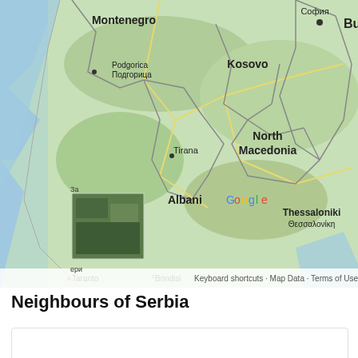[Figure (map): Google Map showing the Balkans region including Montenegro, Kosovo, Bulgaria (Sofia), Podgorica, North Macedonia, Tirana, Albania, Thessaloniki, with zoom controls and Google branding. Also shows Taranto, Brindisi at bottom left. A small satellite inset image is visible in lower-left corner.]
Neighbours of Serbia
[Figure (illustration): Hungary flag displayed as a circle. Three horizontal stripes: red on top, white in middle, green on bottom, clipped to a circular shape.]